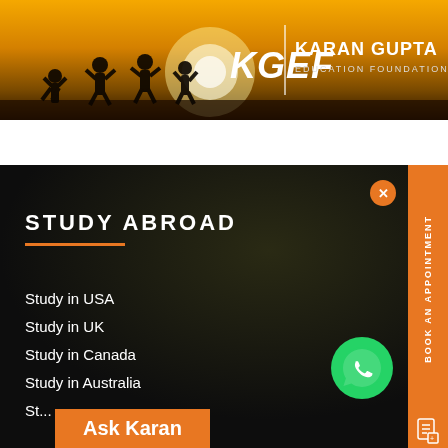[Figure (logo): KGEF Karan Gupta Education Foundation banner with silhouette of children jumping against sunset background]
STUDY ABROAD
Study in USA
Study in UK
Study in Canada
Study in Australia
Study in Singapore (partial)
BOOK AN APPOINTMENT
Ask Karan